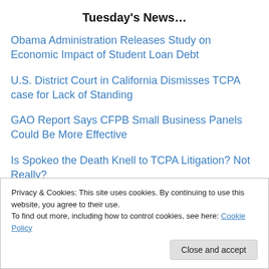Tuesday's News…
Obama Administration Releases Study on Economic Impact of Student Loan Debt
U.S. District Court in California Dismisses TCPA case for Lack of Standing
GAO Report Says CFPB Small Business Panels Could Be More Effective
Is Spokeo the Death Knell to TCPA Litigation? Not Really?
Privacy & Cookies: This site uses cookies. By continuing to use this website, you agree to their use. To find out more, including how to control cookies, see here: Cookie Policy